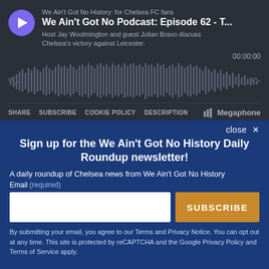[Figure (screenshot): Podcast player widget with dark background. Shows play button, podcast show title 'We Ain't Got No History: for Chelsea FC fans', episode title 'We Ain't Got No Podcast: Episode 62 - T...', description text, waveform visualization, timer 00:00:00, and controls bar with SHARE, SUBSCRIBE, COOKIE POLICY, DESCRIPTION, and Megaphone logo.]
close ×
Sign up for the We Ain't Got No History Daily Roundup newsletter!
A daily roundup of Chelsea news from We Ain't Got No History
Email (required)
SUBSCRIBE
By submitting your email, you agree to our Terms and Privacy Notice. You can opt out at any time. This site is protected by reCAPTCHA and the Google Privacy Policy and Terms of Service apply.